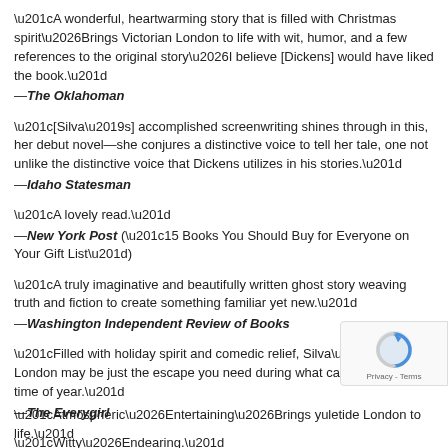“A wonderful, heartwarming story that is filled with Christmas spirit…Brings Victorian London to life with wit, humor, and a few references to the original story…I believe [Dickens] would have liked the book.”
—The Oklahoman
“[Silva’s] accomplished screenwriting shines through in this, her debut novel—she conjures a distinctive voice to tell her tale, one not unlike the distinctive voice that Dickens utilizes in his stories.”
—Idaho Statesman
“A lovely read.”
—New York Post (“15 Books You Should Buy for Everyone on Your Gift List”)
“A truly imaginative and beautifully written ghost story weaving truth and fiction to create something familiar yet new.”
—Washington Independent Review of Books
“Filled with holiday spirit and comedic relief, Silva’s Victorian London may be just the escape you need during what can be a frazzling time of year.”
—The Everygirl
“Witty…Endearing.”
—Columbus Dispatch
“Atmospheric…Entertaining…Brings yuletide London to life.”